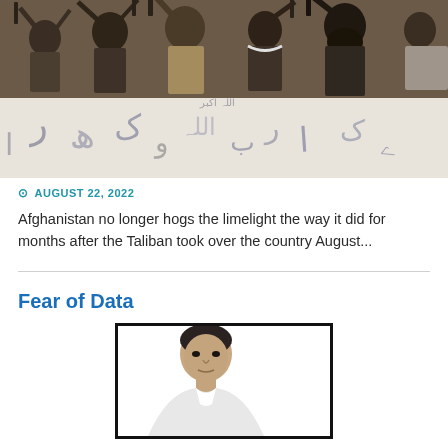[Figure (photo): Crowd of men holding rifles aloft and a large white banner with Arabic script, photographed from below]
⊙ AUGUST 22, 2022
Afghanistan no longer hogs the limelight the way it did for months after the Taliban took over the country August...
Fear of Data
[Figure (photo): Portrait photo of a middle-aged man with dark hair, wearing a white shirt, inside a black-bordered frame]